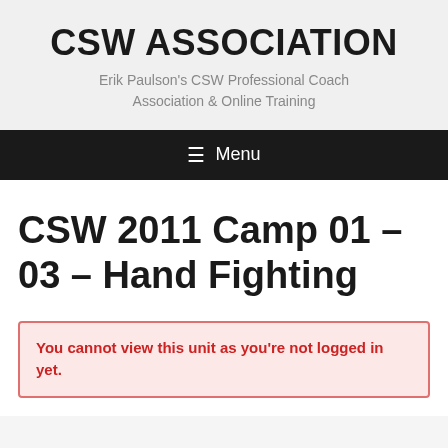CSW ASSOCIATION
Erik Paulson's CSW Professional Coach Association & Online Training
≡ Menu
CSW 2011 Camp 01 – 03 – Hand Fighting
You cannot view this unit as you're not logged in yet.